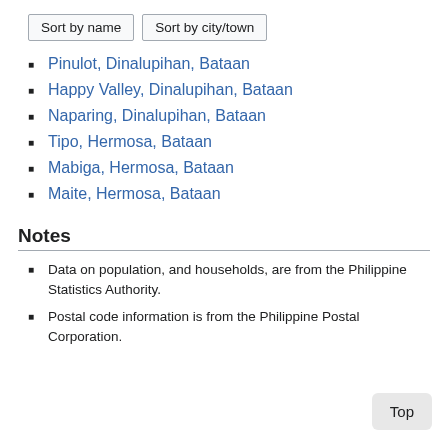Pinulot, Dinalupihan, Bataan
Happy Valley, Dinalupihan, Bataan
Naparing, Dinalupihan, Bataan
Tipo, Hermosa, Bataan
Mabiga, Hermosa, Bataan
Maite, Hermosa, Bataan
Notes
Data on population, and households, are from the Philippine Statistics Authority.
Postal code information is from the Philippine Postal Corporation.